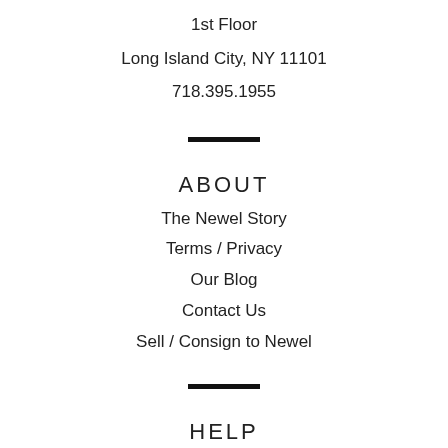1st Floor
Long Island City, NY 11101
718.395.1955
ABOUT
The Newel Story
Terms / Privacy
Our Blog
Contact Us
Sell / Consign to Newel
HELP
My Projects
Register
Login